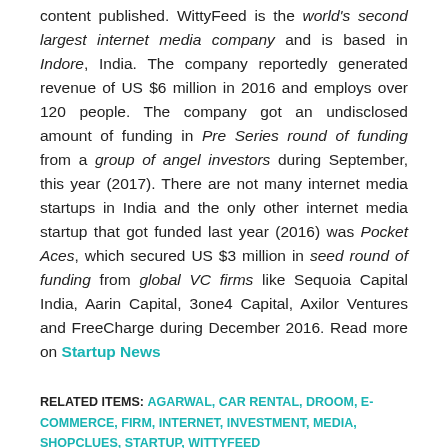content published. WittyFeed is the world's second largest internet media company and is based in Indore, India. The company reportedly generated revenue of US $6 million in 2016 and employs over 120 people. The company got an undisclosed amount of funding in Pre Series round of funding from a group of angel investors during September, this year (2017). There are not many internet media startups in India and the only other internet media startup that got funded last year (2016) was Pocket Aces, which secured US $3 million in seed round of funding from global VC firms like Sequoia Capital India, Aarin Capital, 3one4 Capital, Axilor Ventures and FreeCharge during December 2016. Read more on Startup News
RELATED ITEMS: AGARWAL, CAR RENTAL, DROOM, E-COMMERCE, FIRM, INTERNET, INVESTMENT, MEDIA, SHOPCLUES, STARTUP, WITTYFEED
RECOMMENDED FOR YOU